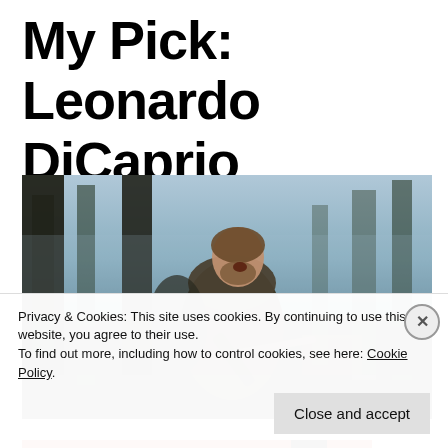My Pick: Leonardo DiCaprio
[Figure (photo): A man in a fur-trimmed coat, mouth open, holding a rifle, standing in a dark forest — appears to be Leonardo DiCaprio in The Revenant.]
Privacy & Cookies: This site uses cookies. By continuing to use this website, you agree to their use.
To find out more, including how to control cookies, see here: Cookie Policy
Close and accept